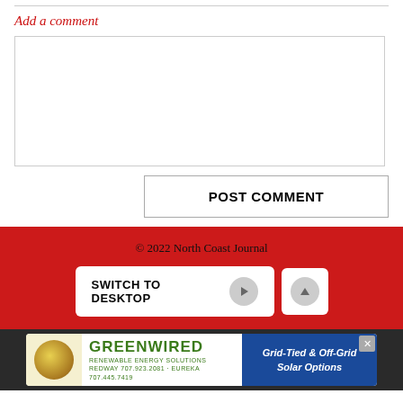Add a comment
[comment textarea]
POST COMMENT
© 2022 North Coast Journal
SWITCH TO DESKTOP
[Figure (screenshot): Advertisement banner for Greenwired Renewable Energy Solutions: Grid-Tied & Off-Grid Solar Options]